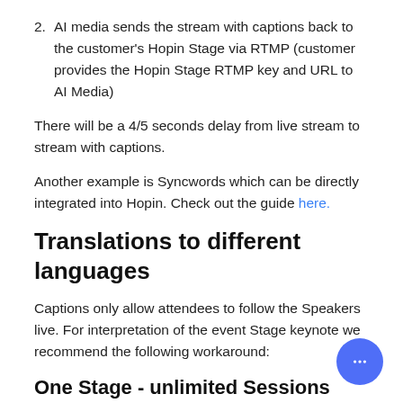2. AI media sends the stream with captions back to the customer's Hopin Stage via RTMP (customer provides the Hopin Stage RTMP key and URL to AI Media)
There will be a 4/5 seconds delay from live stream to stream with captions.
Another example is Syncwords which can be directly integrated into Hopin. Check out the guide here.
Translations to different languages
Captions only allow attendees to follow the Speakers live. For interpretation of the event Stage keynote we recommend the following workaround:
One Stage - unlimited Sessions